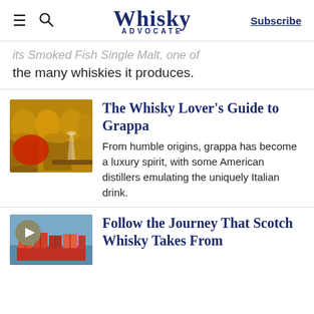Whisky Advocate | Subscribe
its Smoked Fish Single Malt, one of the many whiskies it produces.
[Figure (photo): Whisky barrels in a warehouse with a glass of grappa in the foreground]
The Whisky Lover's Guide to Grappa
From humble origins, grappa has become a luxury spirit, with some American distillers emulating the uniquely Italian drink.
[Figure (photo): Cargo ship with shipping containers, partially visible]
Follow the Journey That Scotch Whisky Takes From